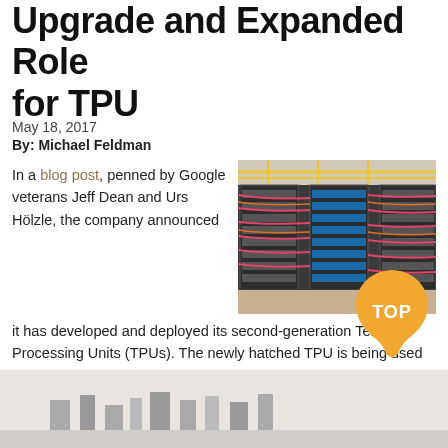Upgrade and Expanded Role for TPU
May 18, 2017
By: Michael Feldman
[Figure (photo): Google TPU server rack hardware with colorful cables in a data center]
In a blog post, penned by Google veterans Jeff Dean and Urs Hölzle, the company announced it has developed and deployed its second-generation Tensor Processing Units (TPUs). The newly hatched TPU is being used to accelerate Google's machine learning work and will also become the basis of a new cloud service.
[Figure (illustration): TOP badge/seal in orange-gold color]
[Figure (photo): Partial view of another server or hardware image at bottom of page]